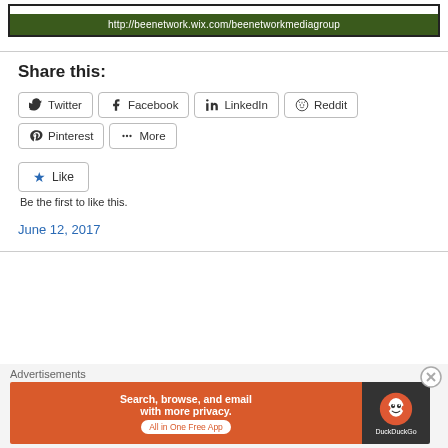[Figure (screenshot): Green banner with URL http://beenetwork.wix.com/beenetworkmediagroup]
Share this:
[Figure (infographic): Social share buttons: Twitter, Facebook, LinkedIn, Reddit, Pinterest, More]
[Figure (infographic): Like button with star icon and 'Be the first to like this.' text]
Be the first to like this.
June 12, 2017
Advertisements
[Figure (screenshot): DuckDuckGo advertisement banner: Search, browse, and email with more privacy. All in One Free App]